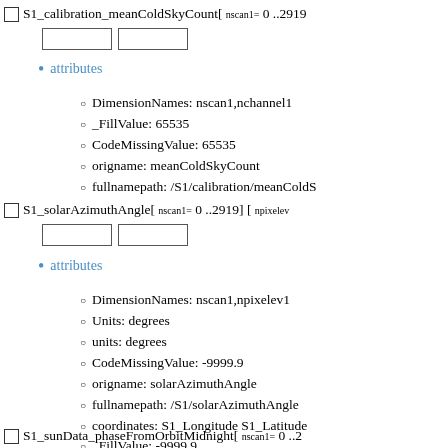S1_calibration_meanColdSkyCount[ nscan1= 0 ..2919
[input boxes]
attributes
DimensionNames: nscan1,nchannel1
_FillValue: 65535
CodeMissingValue: 65535
origname: meanColdSkyCount
fullnamepath: /S1/calibration/meanColdS
S1_solarAzimuthAngle[ nscan1= 0 ..2919] [ npixelev
[input boxes]
attributes
DimensionNames: nscan1,npixelev1
Units: degrees
units: degrees
CodeMissingValue: -9999.9
origname: solarAzimuthAngle
fullnamepath: /S1/solarAzimuthAngle
coordinates: S1_Longitude S1_Latitude
_FillValue: -9999.9
S1_sunData_phaseFromOrbitMidnight[ nscan1= 0 ..2